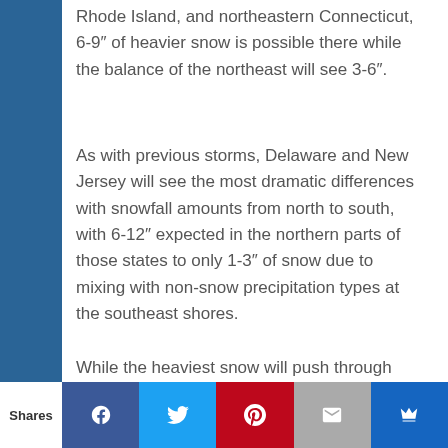Rhode Island, and northeastern Connecticut, 6-9″ of heavier snow is possible there while the balance of the northeast will see 3-6″.
As with previous storms, Delaware and New Jersey will see the most dramatic differences with snowfall amounts from north to south, with 6-12″ expected in the northern parts of those states to only 1-3″ of snow due to mixing with non-snow precipitation types at the southeast shores.
While the heaviest snow will push through late Thursday, snow showers will linger over New England